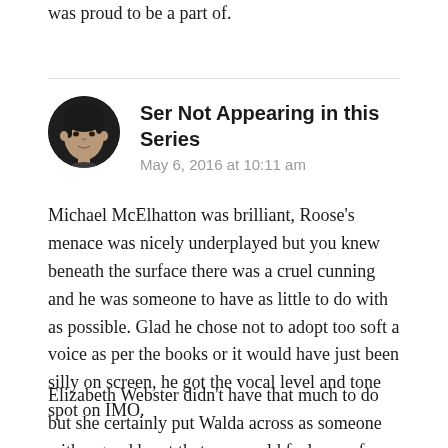was proud to be a part of.
Ser Not Appearing in this Series
May 6, 2016 at 10:11 am
Michael McElhatton was brilliant, Roose's menace was nicely underplayed but you knew beneath the surface there was a cruel cunning and he was someone to have as little to do with as possible. Glad he chose not to adopt too soft a voice as per the books or it would have just been silly on screen, he got the vocal level and tone spot on IMO.
Elizabeth Webster didn't have that much to do but she certainly put Walda across as someone with a good heart that you could feel sorry for her demise.